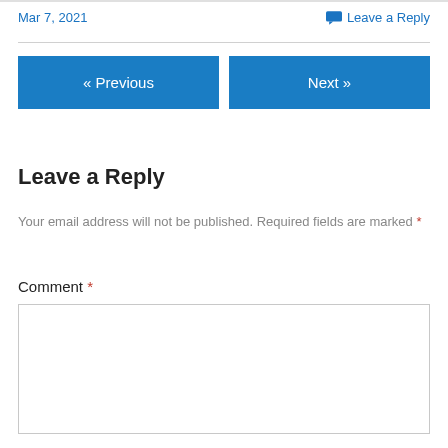Mar 7, 2021
Leave a Reply
« Previous
Next »
Leave a Reply
Your email address will not be published. Required fields are marked *
Comment *